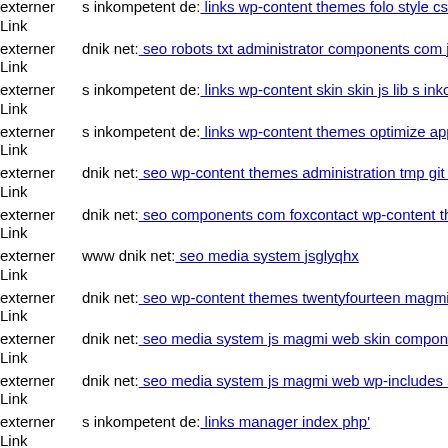externer Link s inkompetent de: links wp-content themes folo style css
externer Link dnik net: seo robots txt administrator components com jinc
externer Link s inkompetent de: links wp-content skin skin js lib s inkompetent
externer Link s inkompetent de: links wp-content themes optimize app etc
externer Link dnik net: seo wp-content themes administration tmp git head
externer Link dnik net: seo components com foxcontact wp-content themes
externer Link www dnik net: seo media system jsglyqhx
externer Link dnik net: seo wp-content themes twentyfourteen magmi com
externer Link dnik net: seo media system js magmi web skin components
externer Link dnik net: seo media system js magmi web wp-includes seo
externer Link s inkompetent de: links manager index php'
externer Link www dnik net: seo js webforms upload components git head